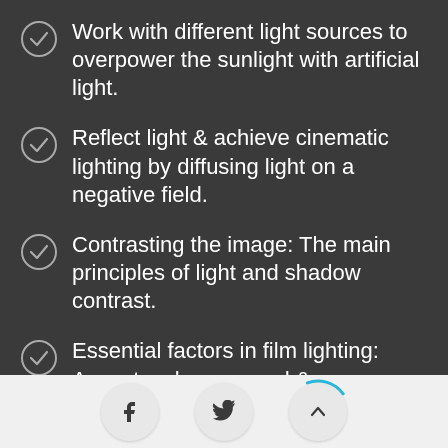Work with different light sources to overpower the sunlight with artificial light.
Reflect light & achieve cinematic lighting by diffusing light on a negative field.
Contrasting the image: The main principles of light and shadow contrast.
Essential factors in film lighting: Accent, volume, mood & atmosphere.
Facebook share, Twitter share, scroll up buttons